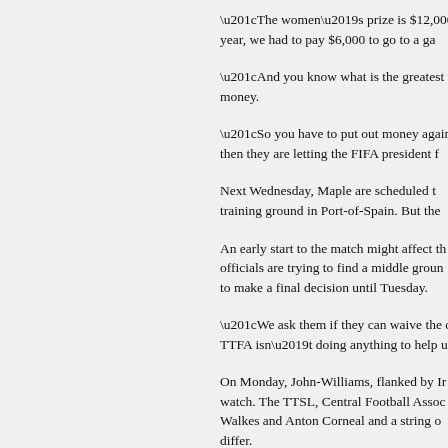“The women’s prize is $12,000 but it is $ year, we had to pay $6,000 to go to a ga
“And you know what is the greatest thing money.
“So you have to put out money again for then they are letting the FIFA president f
Next Wednesday, Maple are scheduled t training ground in Port-of-Spain. But the
An early start to the match might affect th officials are trying to find a middle groun to make a final decision until Tuesday.
“We ask them if they can waive the cost TTFA isn’t doing anything to help us or a
On Monday, John-Williams, flanked by Ir watch. The TTSL, Central Football Assoc Walkes and Anton Corneal and a string o differ.